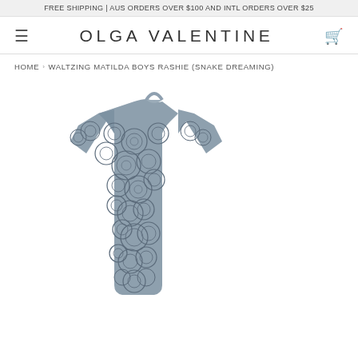FREE SHIPPING | AUS ORDERS OVER $100 AND INTL ORDERS OVER $25
OLGA VALENTINE
HOME › WALTZING MATILDA BOYS RASHIE (SNAKE DREAMING)
[Figure (photo): A boys short-sleeve rash guard / rashie shirt with an all-over circular patterned print in muted blue-grey tones, displayed flat on a white background. The shirt has a high mock neck collar and short sleeves.]